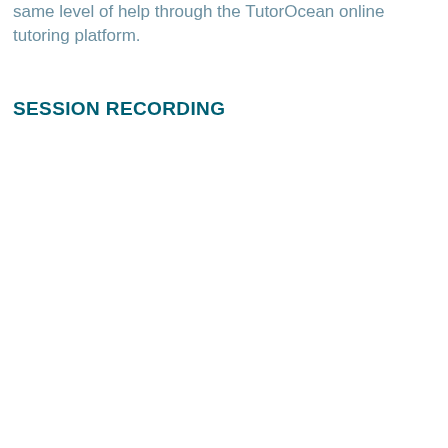same level of help through the TutorOcean online tutoring platform.
SESSION RECORDING